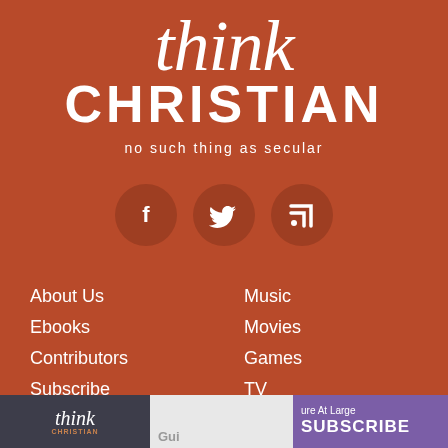think CHRISTIAN
no such thing as secular
[Figure (logo): Three circular social media icons: Facebook (f), Twitter (bird), RSS feed]
About Us
Ebooks
Contributors
Subscribe
Donate
Music
Movies
Games
TV
Online
think CHRISTIAN | Gui... | ...ure At Large SUBSCRIBE